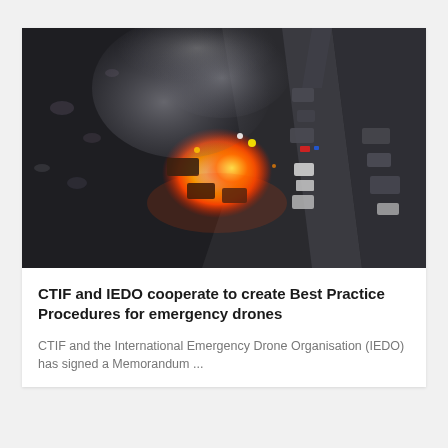[Figure (photo): Aerial drone photograph of a major road accident/fire scene at night. Multiple vehicles are involved in a pile-up on a highway. Large flames and thick smoke rise from burning vehicles in the center-left of the image. Emergency vehicles with lights visible are lined up on the road. Debris scattered across a dark landscape. Road runs diagonally from top-right to bottom-center.]
CTIF and IEDO cooperate to create Best Practice Procedures for emergency drones
CTIF and the International Emergency Drone Organisation (IEDO) has signed a Memorandum ...